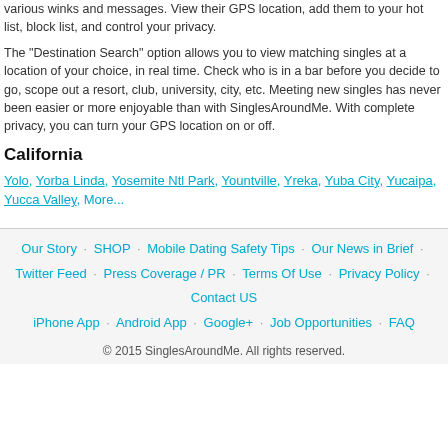various winks and messages. View their GPS location, add them to your hot list, block list, and control your privacy.
The "Destination Search" option allows you to view matching singles at a location of your choice, in real time. Check who is in a bar before you decide to go, scope out a resort, club, university, city, etc. Meeting new singles has never been easier or more enjoyable than with SinglesAroundMe. With complete privacy, you can turn your GPS location on or off.
California
Yolo, Yorba Linda, Yosemite Ntl Park, Yountville, Yreka, Yuba City, Yucaipa, Yucca Valley, More...
Our Story | SHOP | Mobile Dating Safety Tips | Our News in Brief | Twitter Feed | Press Coverage / PR | Terms Of Use | Privacy Policy | Contact US | iPhone App | Android App | Google+ | Job Opportunities | FAQ
© 2015 SinglesAroundMe. All rights reserved.